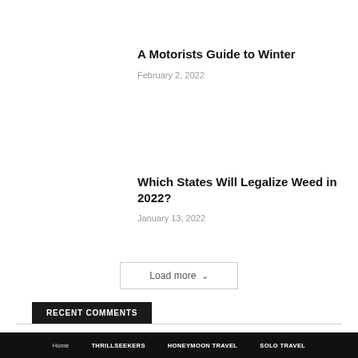A Motorists Guide to Winter
February 2, 2022
Which States Will Legalize Weed in 2022?
January 13, 2022
Load more
RECENT COMMENTS
Home   THRILLSEEKERS   HONEYMOON TRAVEL   SOLO TRAVEL